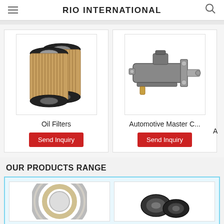RIO INTERNATIONAL
[Figure (photo): Two cylindrical oil filters with tan/gold pleated paper filter media and black end caps]
Oil Filters
[Figure (photo): Automotive master cylinder, dark metal component with mounting flange and brake fitting]
Automotive Master C...
A
OUR PRODUCTS RANGE
[Figure (photo): Wheel bearing or seal ring, circular metal component, partial view]
[Figure (photo): Black rubber boot or seal components, two pieces visible]